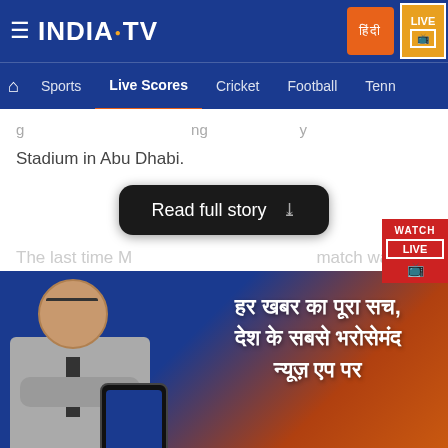[Figure (screenshot): India TV website header with logo, navigation bar showing Sports, Live Scores, Cricket, Football, Tennis, Hindi button and Live TV badge]
Stadium in Abu Dhabi.
The last time M... match was in
[Figure (screenshot): Read full story button - dark rounded pill button with chevron]
[Figure (screenshot): Watch Live badge in red on right side]
[Figure (illustration): India TV advertisement banner in Hindi: हर खबर का पूरा सच, देश के सबसे भरोसेमंद न्यूज़ ऐप पर - with man in suit and India TV logo]